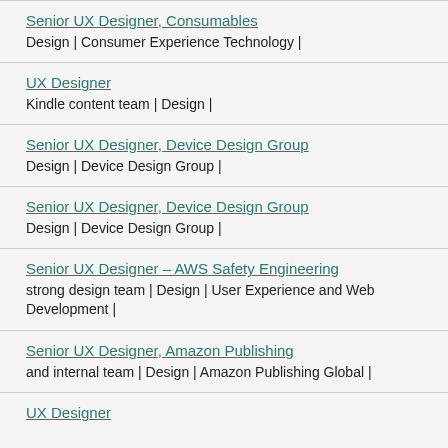Senior UX Designer, Consumables
Design | Consumer Experience Technology |
UX Designer
Kindle content team | Design |
Senior UX Designer, Device Design Group
Design | Device Design Group |
Senior UX Designer, Device Design Group
Design | Device Design Group |
Senior UX Designer – AWS Safety Engineering
strong design team | Design | User Experience and Web Development |
Senior UX Designer, Amazon Publishing
and internal team | Design | Amazon Publishing Global |
UX Designer